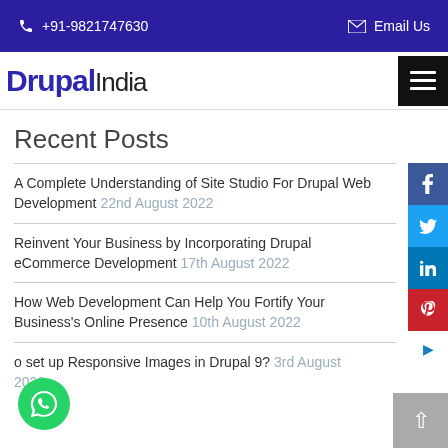+91-9821747630  Email Us
[Figure (logo): DrupalIndia logo with navigation hamburger menu]
Recent Posts
A Complete Understanding of Site Studio For Drupal Web Development 22nd August 2022
Reinvent Your Business by Incorporating Drupal eCommerce Development 17th August 2022
How Web Development Can Help You Fortify Your Business's Online Presence 10th August 2022
o set up Responsive Images in Drupal 9? 3rd August 2022